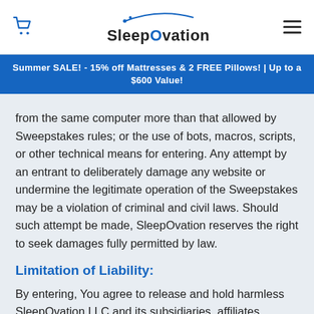SleepOvation
Summer SALE! - 15% off Mattresses & 2 FREE Pillows! | Up to a $600 Value!
from the same computer more than that allowed by Sweepstakes rules; or the use of bots, macros, scripts, or other technical means for entering. Any attempt by an entrant to deliberately damage any website or undermine the legitimate operation of the Sweepstakes may be a violation of criminal and civil laws. Should such attempt be made, SleepOvation reserves the right to seek damages fully permitted by law.
Limitation of Liability:
By entering, You agree to release and hold harmless SleepOvation LLC and its subsidiaries, affiliates,